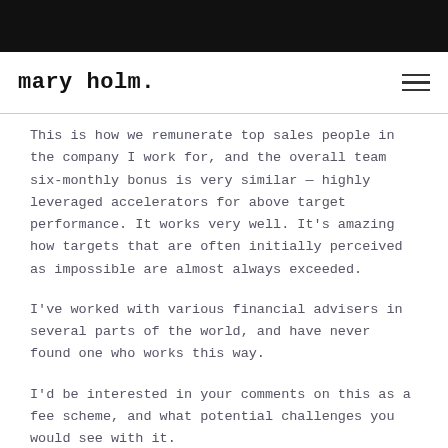mary holm.
This is how we remunerate top sales people in the company I work for, and the overall team six-monthly bonus is very similar — highly leveraged accelerators for above target performance. It works very well. It’s amazing how targets that are often initially perceived as impossible are almost always exceeded.
I’ve worked with various financial advisers in several parts of the world, and have never found one who works this way.
I’d be interested in your comments on this as a fee scheme, and what potential challenges you would see with it.